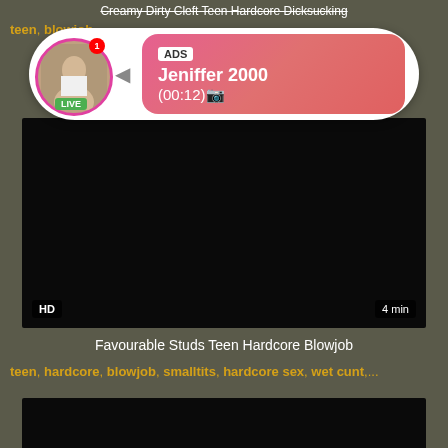Creamy Dirty Cleft Teen Hardcore Dicksucking
teen, blowjob,...
[Figure (screenshot): Advertising overlay with live cam girl notification showing avatar with LIVE badge, notification count of 1, pink gradient box with ADS label, name Jeniffer 2000, and time (00:12)]
[Figure (screenshot): Dark video thumbnail with HD badge bottom-left and 4 min duration badge bottom-right]
Favourable Studs Teen Hardcore Blowjob
teen, hardcore, blowjob, smalltits, hardcore sex, wet cunt,...
[Figure (screenshot): Second dark video thumbnail at bottom of page]